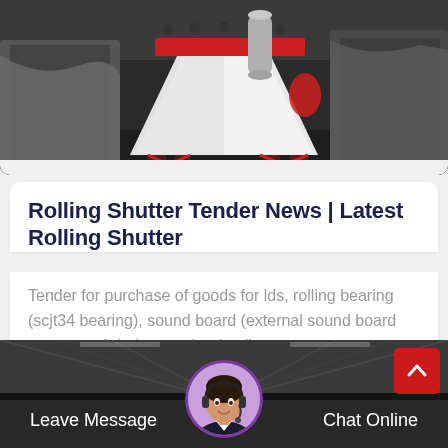[Figure (photo): Industrial machinery photo showing large white cone crusher or similar heavy equipment with red accent bar on top, set in a factory/warehouse environment with grey covers over other equipment in background.]
Rolling Shutter Tender News | Latest Rolling Shutter
Tender for purchase of goods for lds, rolling bearing (scjt34 bearing), sound board (external sound board tascam us1x) view tender detail :....
[Figure (photo): Bottom bar with industrial warehouse background image, a customer service agent avatar in the center, a red scroll-to-top button, and a dark strip showing 'Leave Message' on the left and 'Chat Online' on the right.]